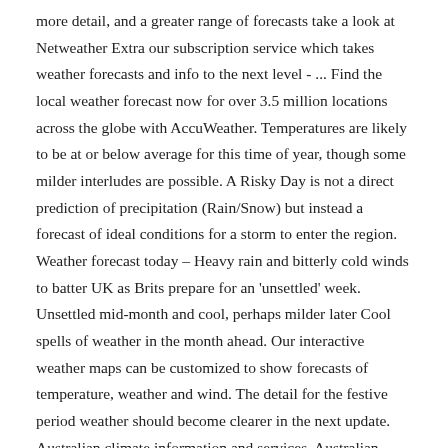more detail, and a greater range of forecasts take a look at Netweather Extra our subscription service which takes weather forecasts and info to the next level - ... Find the local weather forecast now for over 3.5 million locations across the globe with AccuWeather. Temperatures are likely to be at or below average for this time of year, though some milder interludes are possible. A Risky Day is not a direct prediction of precipitation (Rain/Snow) but instead a forecast of ideal conditions for a storm to enter the region. Weather forecast today – Heavy rain and bitterly cold winds to batter UK as Brits prepare for an 'unsettled' week. Unsettled mid-month and cool, perhaps milder later Cool spells of weather in the month ahead. Our interactive weather maps can be customized to show forecasts of temperature, weather and wind. The detail for the festive period weather should become clearer in the next update. Australian climate information and services, Australian Bureau of Meteorology Read about our approach to external